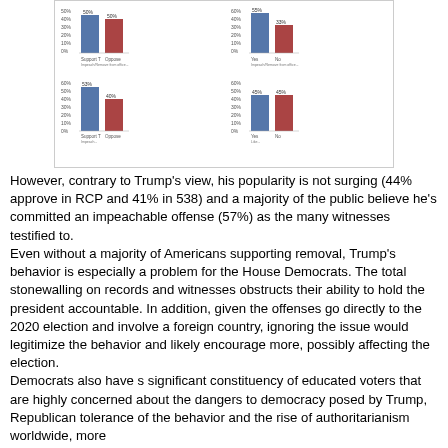[Figure (grouped-bar-chart): Four grouped bar charts showing polling data with blue and red bars. Top left and top right charts show ~50%+ values. Bottom left shows ~53% blue and ~40% red. Bottom right shows ~45% blue and ~45% red.]
However, contrary to Trump's view, his popularity is not surging (44% approve in RCP and 41% in 538) and a majority of the public believe he's committed an impeachable offense (57%) as the many witnesses testified to. Even without a majority of Americans supporting removal, Trump's behavior is especially a problem for the House Democrats. The total stonewalling on records and witnesses obstructs their ability to hold the president accountable. In addition, given the offenses go directly to the 2020 election and involve a foreign country, ignoring the issue would legitimize the behavior and likely encourage more, possibly affecting the election. Democrats also have s significant constituency of educated voters that are highly concerned about the dangers to democracy posed by Trump, Republican tolerance of the behavior and the rise of authoritarianism worldwide, more